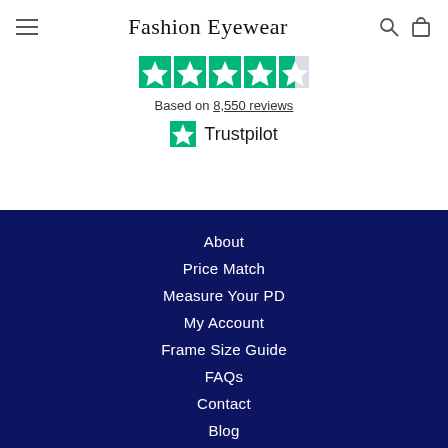Fashion Eyewear
[Figure (logo): Trustpilot green star rating icons showing 4.5 out of 5 stars]
Based on 8,550 reviews
[Figure (logo): Trustpilot logo with green star]
About
Price Match
Measure Your PD
My Account
Frame Size Guide
FAQs
Contact
Blog